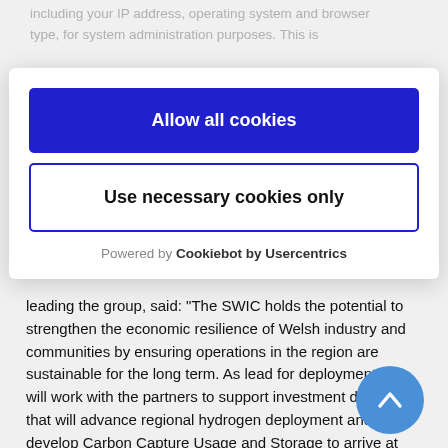including your IP address, operating system and browser type, for system administration purposes. This is
[Figure (screenshot): Cookie consent overlay with 'Allow all cookies' (blue button) and 'Use necessary cookies only' (white button with blue border), and 'Powered by Cookiebot by Usercentrics' footer]
leading the group, said: "The SWIC holds the potential to strengthen the economic resilience of Welsh industry and communities by ensuring operations in the region are sustainable for the long term. As lead for deployment, we will work with the partners to support investment decisions that will advance regional hydrogen deployment and develop Carbon Capture Usage and Storage to arrive at the best solutions for significant carbon reduction."
Dr Chris Williams, head of industrial decarbonisation